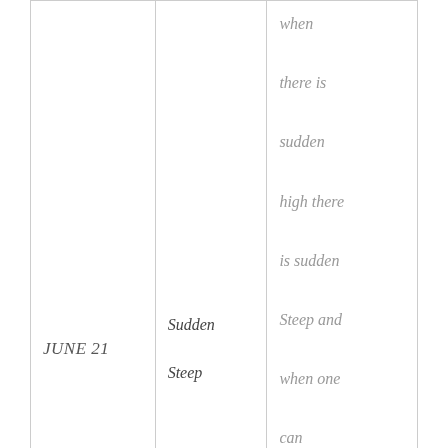| JUNE 21 | Sudden Steep | when there is sudden high there is sudden Steep and when one can handle both then is victory for sure. |
|  |  |  |